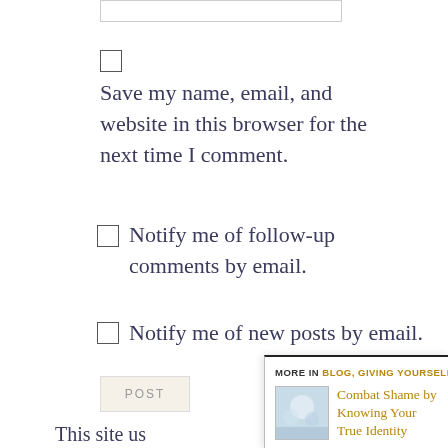Save my name, email, and website in this browser for the next time I comment.
Notify me of follow-up comments by email.
Notify me of new posts by email.
POST
This site us
MORE IN BLOG, GIVING YOURSELF GRACE, RELATIONSHIPS
Combat Shame by Knowing Your True Identity
Shame affects our identity by telling lies about who we are. To combat shame we need to know our true...